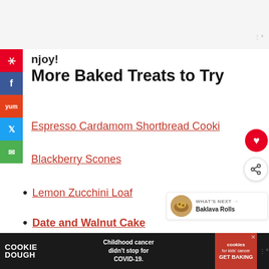[Figure (screenshot): Top gray/white area of webpage (advertisement area placeholder)]
njoy!
More Baked Treats to Try
Espresso Cardamom Shortbread Cooki…
Blackberry Scones
Lemon Zucchini Loaf
Date and Walnut Cake
[Figure (screenshot): Bottom advertisement bar: Cookie Dough brand ad. Text: 'Childhood cancer didn't stop for COVID-19.' with cookies for kids cancer GET BAKING badge.]